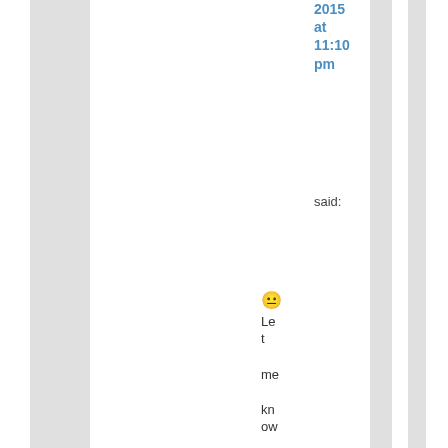2015 at 11:10 pm said:
😐 Let me know what you think. Have yo u...